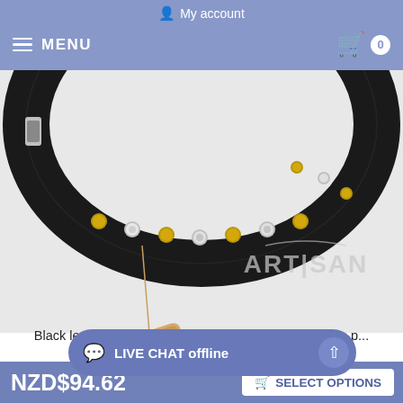My account
MENU  0
[Figure (photo): Black leather dog collar with silver-like and bronze-like pyramid studs, showing an Artisan brand tag hanging from the collar. The Artisan logo is watermarked on the right side of the image.]
Black leather dog collar with silver-like and bronze-like p...
Key features of this P...    Key features of this P...
LIVE CHAT offline
NZD$94.62
SELECT OPTIONS